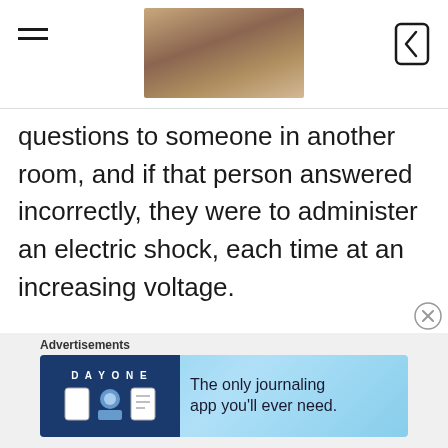[header with hamburger menu, article hero image, and back button]
questions to someone in another room, and if that person answered incorrectly, they were to administer an electric shock, each time at an increasing voltage.
As the experiment went on, they could hear the yells of pain after they inflicted the punishment, and they were led to believe they were causing it (although they were not; the person in the other room was a confederate of the experiment).
Advertisements — Day One: The only journaling app you'll ever need.